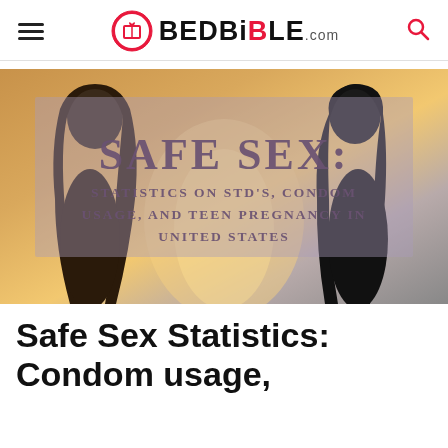BEDBiBLE.com
[Figure (photo): Hero image showing silhouettes of two people facing each other with warm backlight, overlaid with text: 'SAFE SEX: STATISTICS ON STD'S, CONDOM USAGE, AND TEEN PREGNANCY IN UNITED STATES']
Safe Sex Statistics: Condom usage,